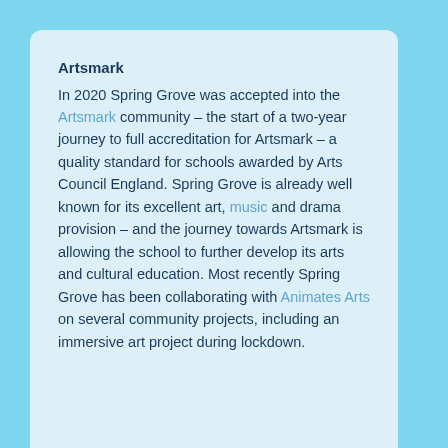Artsmark
In 2020 Spring Grove was accepted into the Artsmark community – the start of a two-year journey to full accreditation for Artsmark – a quality standard for schools awarded by Arts Council England. Spring Grove is already well known for its excellent art, music and drama provision – and the journey towards Artsmark is allowing the school to further develop its arts and cultural education. Most recently Spring Grove has been collaborating with Animates Arts on several community projects, including an immersive art project during lockdown.